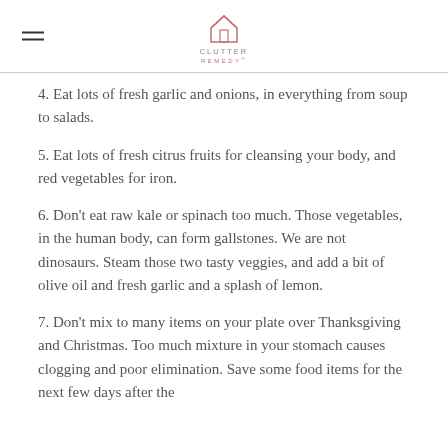Clutter Remedy
4. Eat lots of fresh garlic and onions, in everything from soup to salads.
5. Eat lots of fresh citrus fruits for cleansing your body, and red vegetables for iron.
6. Don't eat raw kale or spinach too much. Those vegetables, in the human body, can form gallstones. We are not dinosaurs. Steam those two tasty veggies, and add a bit of olive oil and fresh garlic and a splash of lemon.
7. Don't mix to many items on your plate over Thanksgiving and Christmas. Too much mixture in your stomach causes clogging and poor elimination. Save some food items for the next few days after the